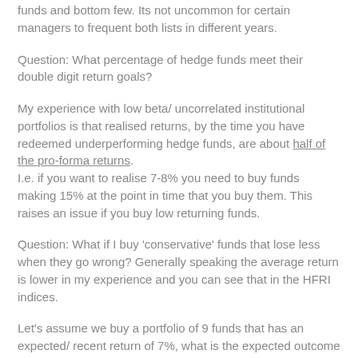funds and bottom few. Its not uncommon for certain managers to frequent both lists in different years.
Question: What percentage of hedge funds meet their double digit return goals?
My experience with low beta/ uncorrelated institutional portfolios is that realised returns, by the time you have redeemed underperforming hedge funds, are about half of the pro-forma returns. I.e. if you want to realise 7-8% you need to buy funds making 15% at the point in time that you buy them. This raises an issue if you buy low returning funds.
Question: What if I buy 'conservative' funds that lose less when they go wrong? Generally speaking the average return is lower in my experience and you can see that in the HFRI indices.
Let's assume we buy a portfolio of 9 funds that has an expected/ recent return of 7%, what is the expected outcome of that portfolio: